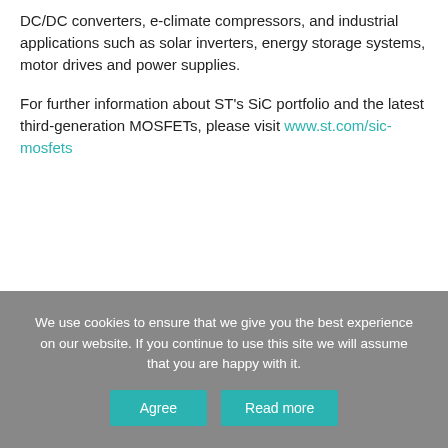DC/DC converters, e-climate compressors, and industrial applications such as solar inverters, energy storage systems, motor drives and power supplies.
For further information about ST's SiC portfolio and the latest third-generation MOSFETs, please visit www.st.com/sic-mosfets
We use cookies to ensure that we give you the best experience on our website. If you continue to use this site we will assume that you are happy with it.